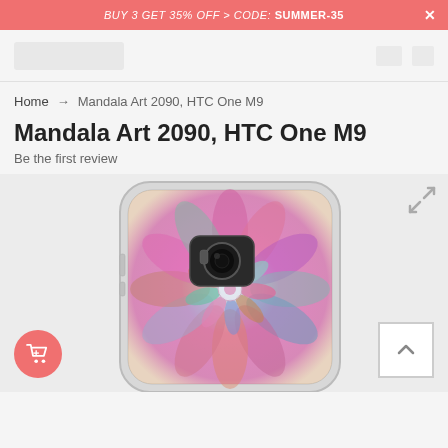BUY 3 GET 35% OFF > CODE: SUMMER-35
[Figure (logo): Website logo placeholder in navigation bar]
Home → Mandala Art 2090, HTC One M9
Mandala Art 2090, HTC One M9
Be the first review
[Figure (photo): Product photo of a phone case for HTC One M9 featuring colorful mandala art design in pink, teal, and purple gradient colors on a transparent case, shown from the back angle.]